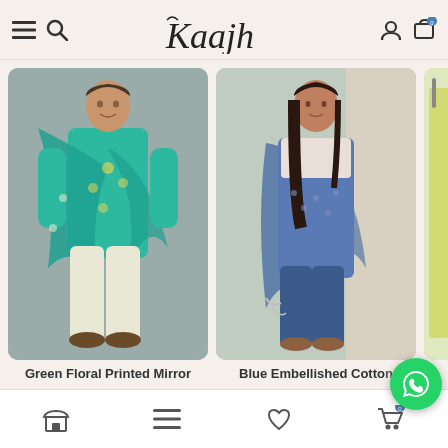Kaajh — navigation header with hamburger menu, search, user account, and cart icons
[Figure (photo): Woman wearing green floral printed mirror work kurta set with dupatta]
[Figure (photo): Woman wearing blue embellished cotton kurta set with dupatta]
[Figure (photo): Partial view of a third product — yellow/green outfit on hanger]
Green Floral Printed Mirror
Blue Embellished Cotto...
Bottom navigation bar with store, menu, wishlist, cart icons and WhatsApp button